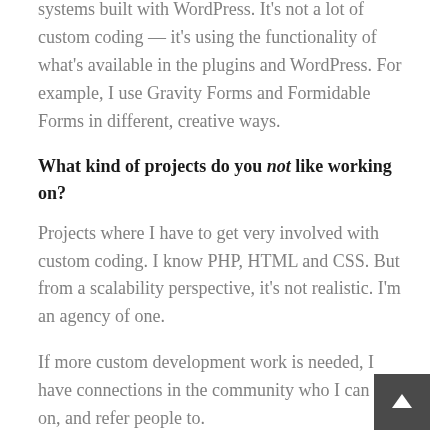systems built with WordPress. It's not a lot of custom coding — it's using the functionality of what's available in the plugins and WordPress. For example, I use Gravity Forms and Formidable Forms in different, creative ways.
What kind of projects do you not like working on?
Projects where I have to get very involved with custom coding. I know PHP, HTML and CSS. But from a scalability perspective, it's not realistic. I'm an agency of one.
If more custom development work is needed, I have connections in the community who I can lean on, and refer people to.
What are the most common problems you help your clients with?
Most of my clients are not technically savvy. They know their business, but they don't know technology.